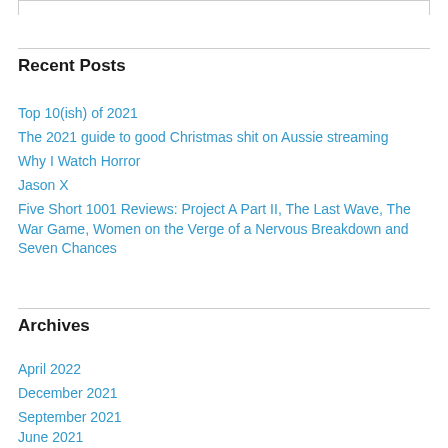Recent Posts
Top 10(ish) of 2021
The 2021 guide to good Christmas shit on Aussie streaming
Why I Watch Horror
Jason X
Five Short 1001 Reviews: Project A Part II, The Last Wave, The War Game, Women on the Verge of a Nervous Breakdown and Seven Chances
Archives
April 2022
December 2021
September 2021
June 2021
February 2021